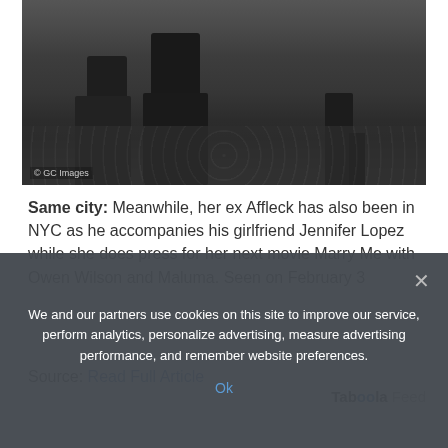[Figure (photo): Bottom half of two people walking — legs and shoes visible, one wearing dark boots and jeans, one wearing open-toe heels, on a dark wet pavement. © GC Images watermark in bottom left.]
Same city: Meanwhile, her ex Affleck has also been in NYC as he accompanies his girlfriend Jennifer Lopez while she does press for her next movie Marry Me with Owen Wilson and Maluma. Seen on February 3
Source: Read Full Article
Taboola Feed
We and our partners use cookies on this site to improve our service, perform analytics, personalize advertising, measure advertising performance, and remember website preferences.
Ok